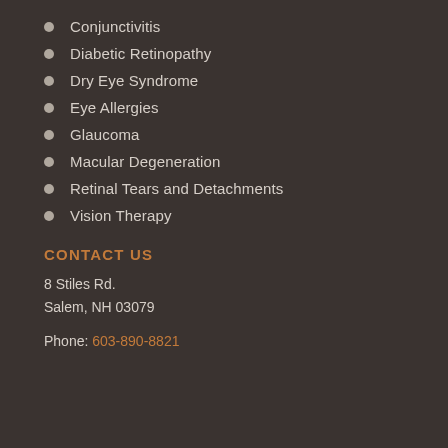Conjunctivitis
Diabetic Retinopathy
Dry Eye Syndrome
Eye Allergies
Glaucoma
Macular Degeneration
Retinal Tears and Detachments
Vision Therapy
CONTACT US
8 Stiles Rd.
Salem, NH 03079
Phone: 603-890-8821